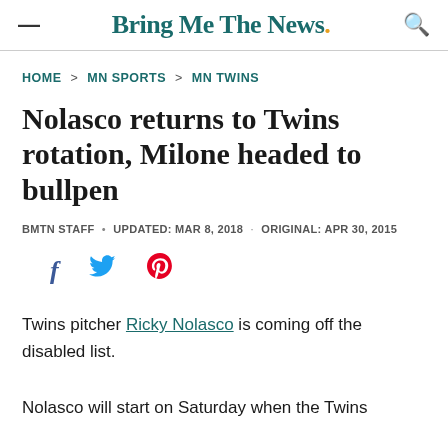Bring Me The News.
HOME > MN SPORTS > MN TWINS
Nolasco returns to Twins rotation, Milone headed to bullpen
BMTN STAFF • UPDATED: MAR 8, 2018 · ORIGINAL: APR 30, 2015
[Figure (other): Social sharing icons: Facebook, Twitter, Pinterest]
Twins pitcher Ricky Nolasco is coming off the disabled list.
Nolasco will start on Saturday when the Twins